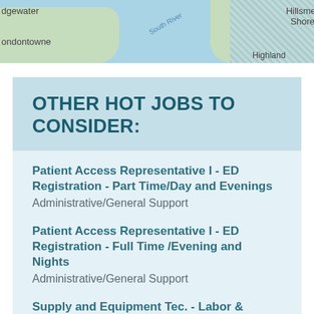[Figure (map): Partial map showing areas including Edgewater, Londontowne, Hillsmere Shores, and Highland, with water bodies, green land areas, and road overlays.]
OTHER HOT JOBS TO CONSIDER:
Patient Access Representative I - ED Registration - Part Time/Day and Evenings
Administrative/General Support
Patient Access Representative I - ED Registration - Full Time /Evening and Nights
Administrative/General Support
Supply and Equipment Tec. - Labor & Delivery Unit
Administrative/General Support